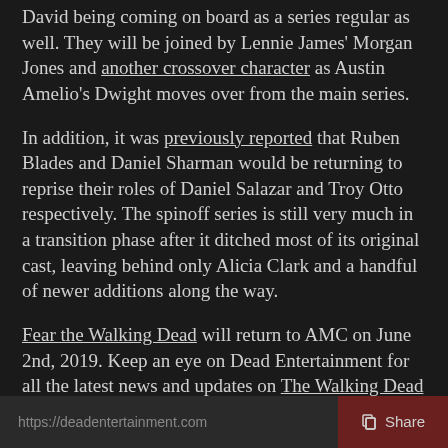David being coming on board as a series regular as well. They will be joined by Lennie James' Morgan Jones and another crossover character as Austin Amelio's Dwight moves over from the main series.
In addition, it was previously reported that Ruben Blades and Daniel Sharman would be returning to reprise their roles of Daniel Salazar and Troy Otto respectively. The spinoff series is still very much in a transition phase after it ditched most of its original cast, leaving behind only Alicia Clark and a handful of newer additions along the way.
Fear the Walking Dead will return to AMC on June 2nd, 2019. Keep an eye on Dead Entertainment for all the latest news and updates on The Walking Dead and its various spinoffs.
https://deadentertainment.com  Share